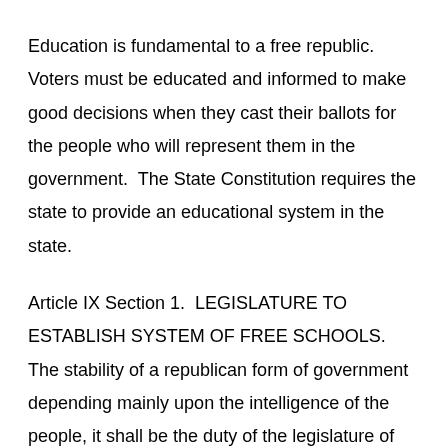Education is fundamental to a free republic.  Voters must be educated and informed to make good decisions when they cast their ballots for the people who will represent them in the government.  The State Constitution requires the state to provide an educational system in the state.
Article IX Section 1.  LEGISLATURE TO ESTABLISH SYSTEM OF FREE SCHOOLS. The stability of a republican form of government depending mainly upon the intelligence of the people, it shall be the duty of the legislature of Idaho. to establish and maintain a general. uniform and thorough system of public, free common schools.